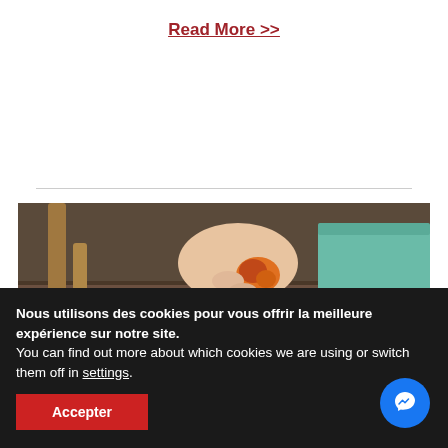Read More >>
[Figure (photo): A person's hand holding an orange flower or object, with wooden chair legs and a teal couch visible in the background on a wooden floor.]
Nous utilisons des cookies pour vous offrir la meilleure expérience sur notre site.
You can find out more about which cookies we are using or switch them off in settings.
Accepter